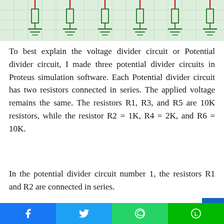[Figure (circuit-diagram): Proteus simulation screenshot showing multiple resistors with ground symbols connected in series on a green grid background]
To best explain the voltage divider circuit or Potential divider circuit, I made three potential divider circuits in Proteus simulation software. Each Potential divider circuit has two resistors connected in series. The applied voltage remains the same. The resistors R1, R3, and R5 are 10K resistors, while the resistor R2 = 1K, R4 = 2K, and R6 = 10K.
In the potential divider circuit number 1, the resistors R1 and R2 are connected in series.
Vin = 12 volts